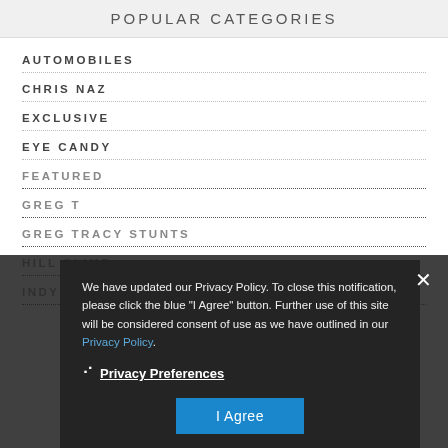POPULAR CATEGORIES
AUTOMOBILES
CHRIS NAZ
EXCLUSIVE
EYE CANDY
FEATURED
GREG T
GREG TRACY STUNTS
HILL CLIMB
INDY CAR
We have updated our Privacy Policy. To close this notification, please click the blue "I Agree" button. Further use of this site will be considered consent of use as we have outlined in our Privacy Policy.
Privacy Preferences
I Agree